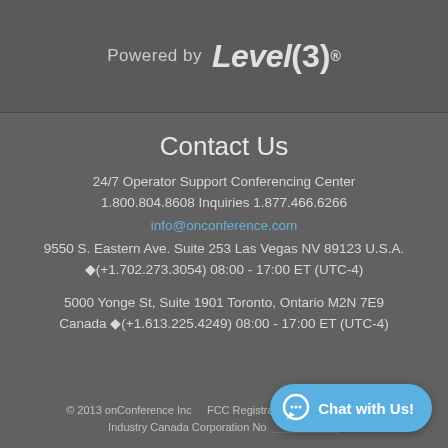[Figure (logo): Powered by Level(3) logo on dark grey background]
Contact Us
24/7 Operator Support Conferencing Center
1.800.804.8608 Inquiries 1.877.466.6266
info@onconference.com
9550 S. Eastern Ave. Suite 253 Las Vegas NV 89123 U.S.A.
(+1.702.273.3054) 08:00 - 17:00 ET (UTC-4)
5000 Yonge St, Suite 1901 Toronto, Ontario M2N 7E9
Canada (+1.613.225.4249) 08:00 - 17:00 ET (UTC-4)
© 2013 onConference Inc    FCC Registration No.    Industry Canada Corporation No.
[Figure (illustration): Chat with Us! button/widget overlay in blue]